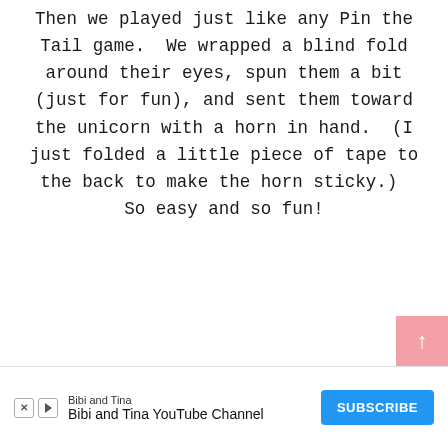Then we played just like any Pin the Tail game.  We wrapped a blind fold around their eyes, spun them a bit (just for fun), and sent them toward the unicorn with a horn in hand.  (I just folded a little piece of tape to the back to make the horn sticky.)  So easy and so fun!
[Figure (other): Pink scroll-to-top button in bottom right corner]
[Figure (other): Advertisement banner for Bibi and Tina YouTube Channel with a blue SUBSCRIBE button]